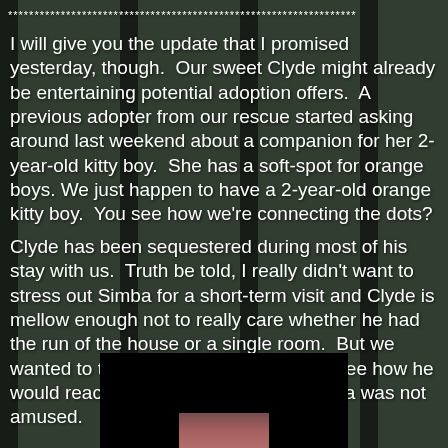******************************************************************
I will give you the update that I promised yesterday, though.  Our sweet Clyde might already be entertaining potential adoption offers.  A previous adopter from our rescue started asking around last weekend about a companion for her 2-year-old kitty boy.  She has a soft-spot for orange boys. We just happen to have a 2-year-old orange kitty boy.  You see how we're connecting the dots?
Clyde has been sequestered during most of his stay with us.  Truth be told, I really didn't want to stress out Simba for a short-term visit and Clyde is mellow enough not to really care whether he had the run of the house or a single room.  But we wanted to test Clyde with other cats to see how he would react to a potential brother.  Simba was not amused.
[Figure (photo): A black-bordered photo box at the bottom center of the page, showing a partial glimpse of what appears to be a cat or animal photo]